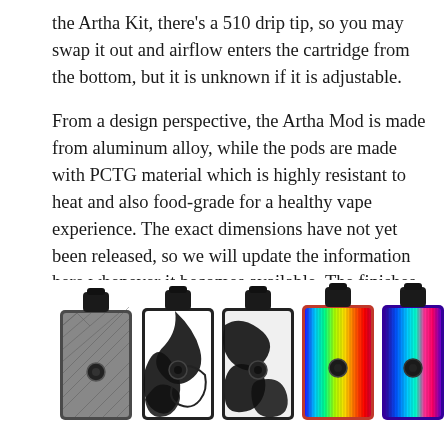the Artha Kit, there's a 510 drip tip, so you may swap it out and airflow enters the cartridge from the bottom, but it is unknown if it is adjustable.
From a design perspective, the Artha Mod is made from aluminum alloy, while the pods are made with PCTG material which is highly resistant to heat and also food-grade for a healthy vape experience. The exact dimensions have not yet been released, so we will update the information here whenever it becomes available. The finishes look amazing with available options that include ink gunmetal, aurora red, ink black, aurora blue and gradual black.
[Figure (photo): Five vape pod devices shown side by side: from left to right, a gunmetal with diamond-pattern panel, two black-and-white swirl pattern devices, an aurora red with vertical rainbow stripes, and an aurora blue with vertical rainbow stripes. Each device has a rectangular body with a drip tip on top and a small circular button/window on the front.]